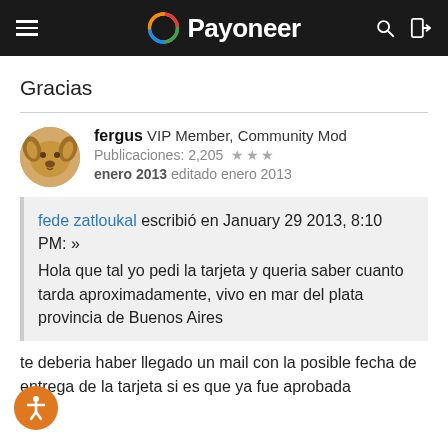Payoneer
Gracias
fergus  VIP Member, Community Mod
Publicaciones: 2,205  ★★★
enero 2013  editado enero 2013
fede zatloukal escribió en January 29 2013, 8:10 PM: »
Hola que tal yo pedi la tarjeta y queria saber cuanto tarda aproximadamente, vivo en mar del plata provincia de Buenos Aires
te deberia haber llegado un mail con la posible fecha de entrega de la tarjeta si es que ya fue aprobada